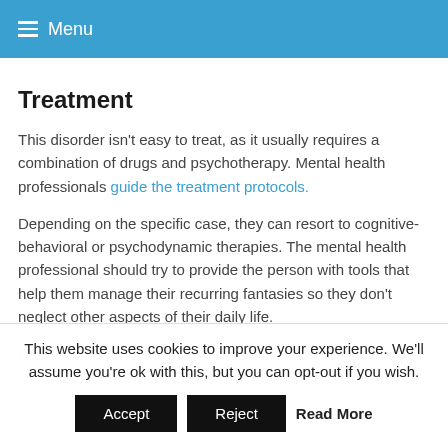Menu
Treatment
This disorder isn't easy to treat, as it usually requires a combination of drugs and psychotherapy. Mental health professionals guide the treatment protocols.
Depending on the specific case, they can resort to cognitive-behavioral or psychodynamic therapies. The mental health professional should try to provide the person with tools that help them manage their recurring fantasies so they don't neglect other aspects of their daily life.
Cognitive-behavioral therapy emphasizes limiting access to
This website uses cookies to improve your experience. We'll assume you're ok with this, but you can opt-out if you wish.